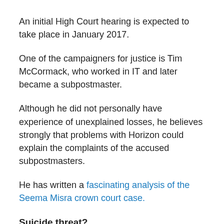An initial High Court hearing is expected to take place in January 2017.
One of the campaigners for justice is Tim McCormack, who worked in IT and later became a subpostmaster.
Although he did not personally have experience of unexplained losses, he believes strongly that problems with Horizon could explain the complaints of the accused subpostmasters.
He has written a fascinating analysis of the Seema Misra crown court case.
Suicide threat?
A subpostmaster has – unsuccessfully – made an anonymous FOI request to the Post Office for its Horizon